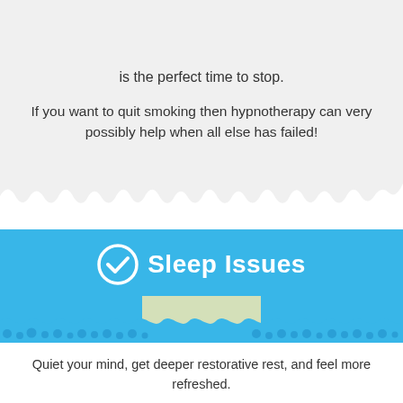is the perfect time to stop.
If you want to quit smoking then hypnotherapy can very possibly help when all else has failed!
[Figure (infographic): Blue banner with checkmark circle icon and bold white text 'Sleep Issues', with torn paper edge decorative elements]
Quiet your mind, get deeper restorative rest, and feel more refreshed.
Experience a customized approach to helping you resolve those old tiring unwanted sleep patterns.